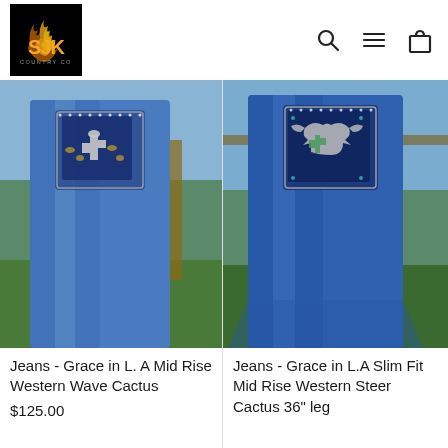[Figure (logo): SJK Country Co logo — black background with flame graphic above bold orange 'SJK' text and small grey 'COUNTRY CO' subtitle]
[Figure (photo): Close-up side/rear view of person wearing blue denim jeans with decorative embellished back pocket featuring cactus and western wave pattern, outdoors near wooden fence with green grass]
[Figure (photo): Close-up side/rear view of person wearing blue denim jeans with decorative embellished back pocket featuring steer skull and cactus design, outdoors near wooden fence with green grass]
Jeans - Grace in L. A Mid Rise Western Wave Cactus
$125.00
Jeans - Grace in L.A Slim Fit Mid Rise Western Steer Cactus 36" leg